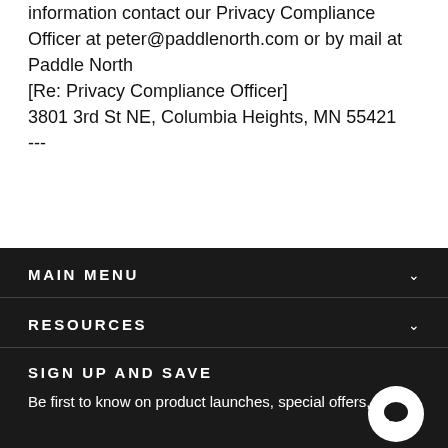information contact our Privacy Compliance Officer at peter@paddlenorth.com or by mail at Paddle North
[Re: Privacy Compliance Officer]
3801 3rd St NE, Columbia Heights, MN 55421
---
MAIN MENU
RESOURCES
SIGN UP AND SAVE
Be first to know on product launches, special offers,